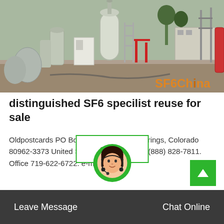[Figure (photo): Industrial electrical substation equipment scene with large cylindrical tanks and metal structures. Orange watermark text 'SF6China' in the lower right corner.]
distinguished SF6 specilist reuse for sale
Oldpostcards PO Box 63373 Colorado Springs, Colorado 80962-3373 United States. Toll Free USA (888) 828-7811. Office 719-622-6722. e-mail:
[Figure (other): Customer service chat widget with green-bordered popup box labeled 'Online', circular avatar of female customer service representative with headset, green circular border.]
Leave Message   Chat Online